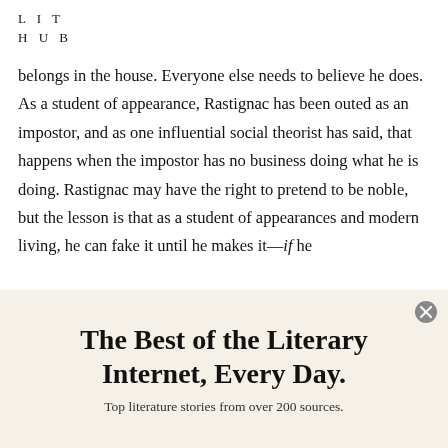L I T
H U B
belongs in the house. Everyone else needs to believe he does. As a student of appearance, Rastignac has been outed as an impostor, and as one influential social theorist has said, that happens when the impostor has no business doing what he is doing. Rastignac may have the right to pretend to be noble, but the lesson is that as a student of appearances and modern living, he can fake it until he makes it—if he
The Best of the Literary Internet, Every Day.
Top literature stories from over 200 sources.